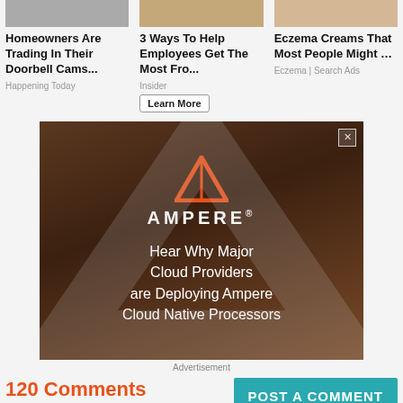[Figure (photo): Three article cards with images at top: homeowners doorbell cams, employees at work, eczema cream person]
Homeowners Are Trading In Their Doorbell Cams...
Happening Today
3 Ways To Help Employees Get The Most Fro...
Insider
Eczema Creams That Most People Might ...
Eczema | Search Ads
[Figure (photo): Ampere advertisement banner with dark brown background, red triangle logo, AMPERE brand name, and text: Hear Why Major Cloud Providers are Deploying Ampere Cloud Native Processors]
Advertisement
120 Comments
View All Comments